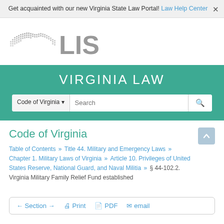Get acquainted with our new Virginia State Law Portal! Law Help Center
[Figure (logo): Virginia LIS (Legislative Information System) logo with Virginia state outline and 'LIS' text in gray]
VIRGINIA LAW
Code of Virginia search bar with Code of Virginia dropdown and Search input
Code of Virginia
Table of Contents » Title 44. Military and Emergency Laws » Chapter 1. Military Laws of Virginia » Article 10. Privileges of United States Reserve, National Guard, and Naval Militia » § 44-102.2. Virginia Military Family Relief Fund established
← Section → | Print | PDF | email